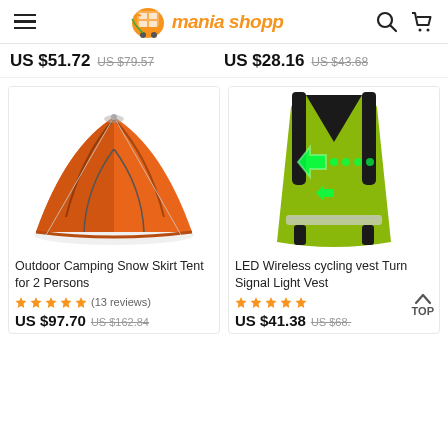mania shopp
US $51.72  US $79.57  US $28.16  US $43.68
[Figure (photo): Orange dome camping tent for 2 persons]
[Figure (photo): Green LED wireless cycling vest with turn signal lights]
Outdoor Camping Snow Skirt Tent for 2 Persons
LED Wireless cycling vest Turn Signal Light Vest
★★★★★ (13 reviews)  US $97.70  US $162.84
★★★★★  US $41.38  US $68.something